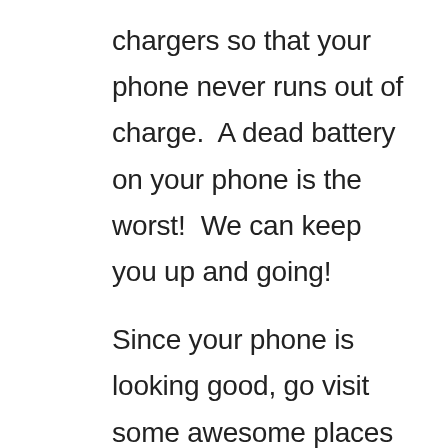chargers so that your phone never runs out of charge.  A dead battery on your phone is the worst!  We can keep you up and going!

Since your phone is looking good, go visit some awesome places in Sandy!  We completely recommend spending some time at Scheels!  Not only does this massive place have everything you need for sporting goods, outdoor gear for fishing and hunting, along with most everything for home and yard; it also boasts a 65-foot tall indoor ferris wheel, saltwater aquarium with many different fish